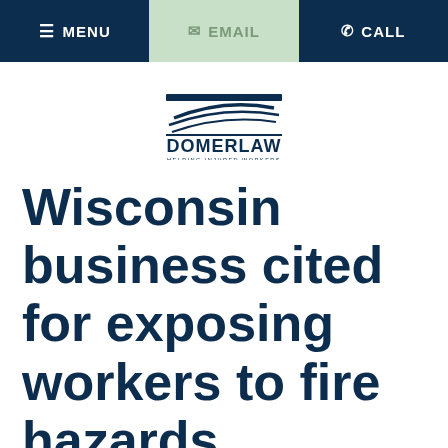MENU  EMAIL  CALL
[Figure (logo): Domer Law logo with stylized lines and text 'DOMERLAW HELPING INJURED WORKERS']
Wisconsin business cited for exposing workers to fire hazards